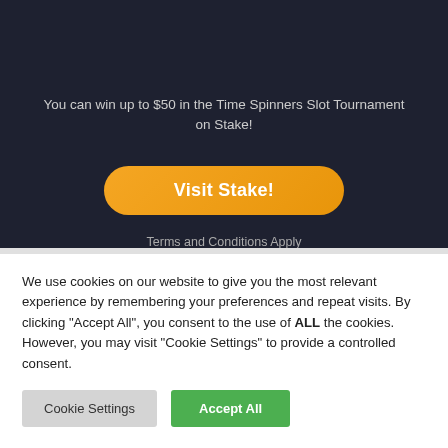BitPunter
You can win up to $50 in the Time Spinners Slot Tournament on Stake!
Visit Stake!
Terms and Conditions Apply
We use cookies on our website to give you the most relevant experience by remembering your preferences and repeat visits. By clicking "Accept All", you consent to the use of ALL the cookies. However, you may visit "Cookie Settings" to provide a controlled consent.
Cookie Settings
Accept All